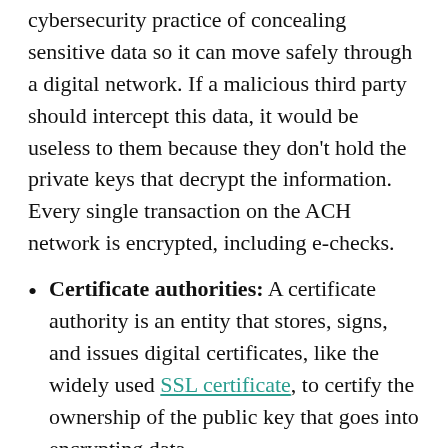cybersecurity practice of concealing sensitive data so it can move safely through a digital network. If a malicious third party should intercept this data, it would be useless to them because they don't hold the private keys that decrypt the information. Every single transaction on the ACH network is encrypted, including e-checks.
Certificate authorities: A certificate authority is an entity that stores, signs, and issues digital certificates, like the widely used SSL certificate, to certify the ownership of the public key that goes into encrypting data.
E-checks bring the paper check into the 21st